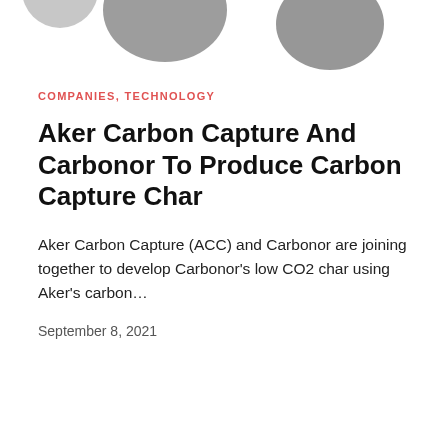[Figure (illustration): Decorative dark grey circular blobs/orbs at the top of the page, partially cropped]
COMPANIES, TECHNOLOGY
Aker Carbon Capture And Carbonor To Produce Carbon Capture Char
Aker Carbon Capture (ACC) and Carbonor are joining together to develop Carbonor’s low CO2 char using Aker’s carbon…
September 8, 2021